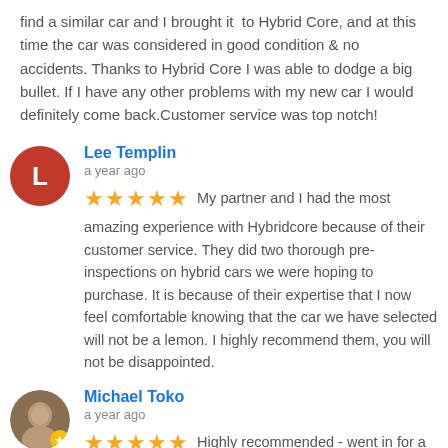find a similar car and I brought it to Hybrid Core, and at this time the car was considered in good condition & no accidents. Thanks to Hybrid Core I was able to dodge a big bullet. If I have any other problems with my new car I would definitely come back.Customer service was top notch!
Lee Templin
a year ago
★★★★★ My partner and I had the most amazing experience with Hybridcore because of their customer service. They did two thorough pre-inspections on hybrid cars we were hoping to purchase. It is because of their expertise that I now feel comfortable knowing that the car we have selected will not be a lemon. I highly recommend them, you will not be disappointed.
Michael Toko
a year ago
★★★★★ Highly recommended - went in for a free hybrid battery health check - absolutely no pressure to upsell me, advice was honest and